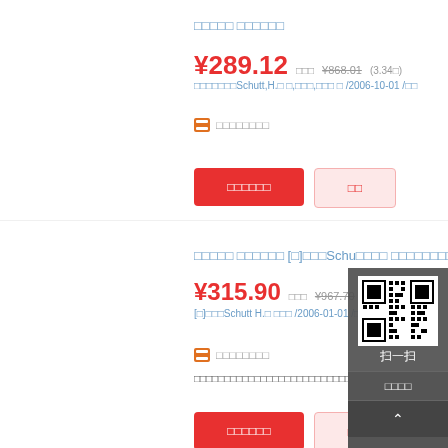□□□□□ □□□□□□
¥289.12  □□□¥868.01 (3.34□)
□□□□□□□Schutt,H.□ □,□□□,□□□ □ /2006-10-01 /□□
□□□□□□□□
□□□□□□  □□
□□□□□ □□□□□□ [□]□□□Schu□□□□ □□□□□□□□□□□
¥315.90  □□□¥967.70
[□]□□□Schutt H.□ □□□ /2006-01-01 /□□□□□□□□□
□□□□□□□□
□□□□□□□□□□□□□□□□□□□□□□□□□□□□□□□□□□□□□□□□□□□□□□□□□□□□□□□□□□□□□□□□□□□□□□□□□□□□□□□□
□□□□□□  □□